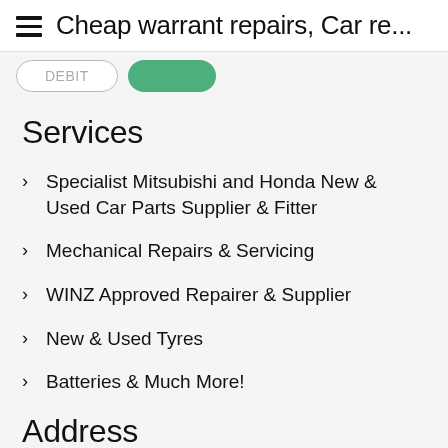Cheap warrant repairs, Car re...
Services
Specialist Mitsubishi and Honda New & Used Car Parts Supplier & Fitter
Mechanical Repairs & Servicing
WINZ Approved Repairer & Supplier
New & Used Tyres
Batteries & Much More!
Address